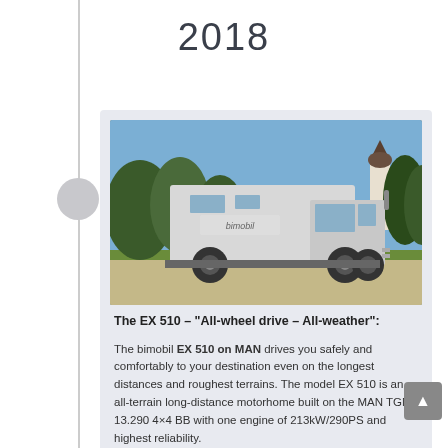2018
[Figure (photo): A large white MAN TGM truck with a bimobil EX 510 expedition motorhome body, parked on a gravel surface with trees and a church tower in the background under a blue sky.]
The EX 510 – "All-wheel drive – All-weather":
The bimobil EX 510 on MAN drives you safely and comfortably to your destination even on the longest distances and roughest terrains. The model EX 510 is an all-terrain long-distance motorhome built on the MAN TGM 13.290 4×4 BB with one engine of 213kW/290PS and highest reliability.